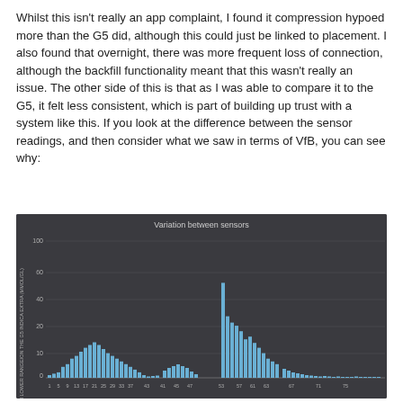Whilst this isn't really an app complaint, I found it compression hypoed more than the G5 did, although this could just be linked to placement. I also found that overnight, there was more frequent loss of connection, although the backfill functionality meant that this wasn't really an issue. The other side of this is that as I was able to compare it to the G5, it felt less consistent, which is part of building up trust with a system like this. If you look at the difference between the sensor readings, and then consider what we saw in terms of VfB, you can see why:
[Figure (bar-chart): Variation between sensors]